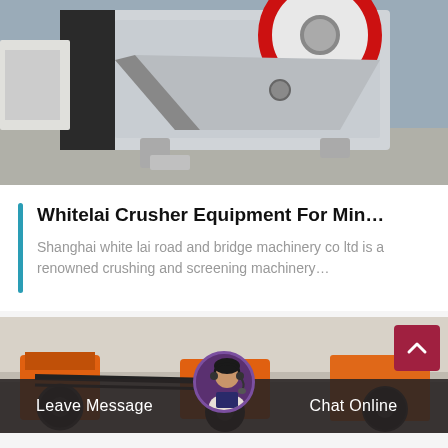[Figure (photo): Jaw crusher machine — large industrial white and gray metal crushing equipment with red flywheel, sitting on concrete floor in an outdoor yard]
Whitelai Crusher Equipment For Min…
Shanghai white lai road and bridge machinery co ltd is a renowned crushing and screening machinery…
[Figure (photo): Partial view of orange industrial machinery / crushers in an outdoor yard, partially obscured by chat bar overlay]
Leave Message
Chat Online